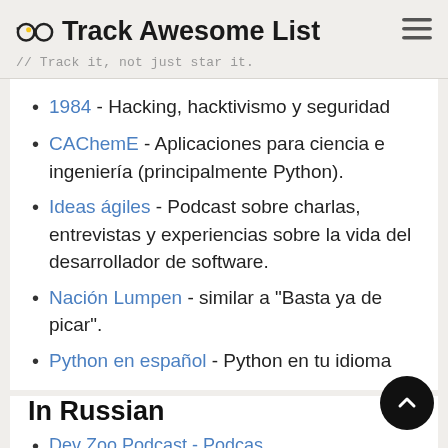Track Awesome List // Track it, not just star it.
1984 - Hacking, hacktivismo y seguridad
CAChemE - Aplicaciones para ciencia e ingeniería (principalmente Python).
Ideas ágiles - Podcast sobre charlas, entrevistas y experiencias sobre la vida del desarrollador de software.
Nación Lumpen - similar a "Basta ya de picar".
Python en español - Python en tu idioma
In Russian